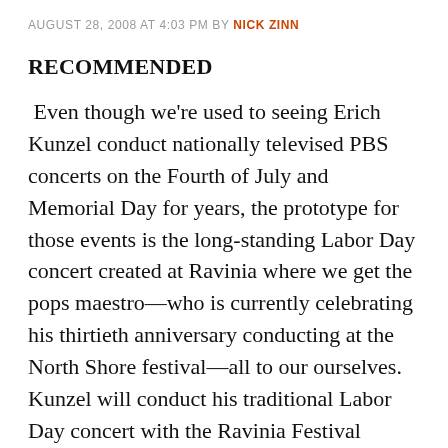AUGUST 28, 2008 AT 4:03 PM BY NICK ZINN
RECOMMENDED
Even though we're used to seeing Erich Kunzel conduct nationally televised PBS concerts on the Fourth of July and Memorial Day for years, the prototype for those events is the long-standing Labor Day concert created at Ravinia where we get the pops maestro—who is currently celebrating his thirtieth anniversary conducting at the North Shore festival—all to our ourselves.  Kunzel will conduct his traditional Labor Day concert with the Ravinia Festival Orchestra (code for an